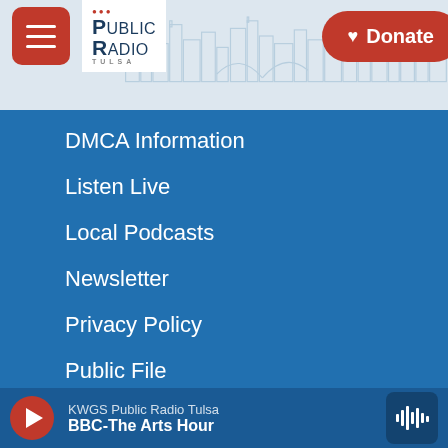Public Radio Tulsa — Donate
DMCA Information
Listen Live
Local Podcasts
Newsletter
Privacy Policy
Public File
Support
Vehicle Donation
KWGS Public Radio Tulsa — BBC-The Arts Hour